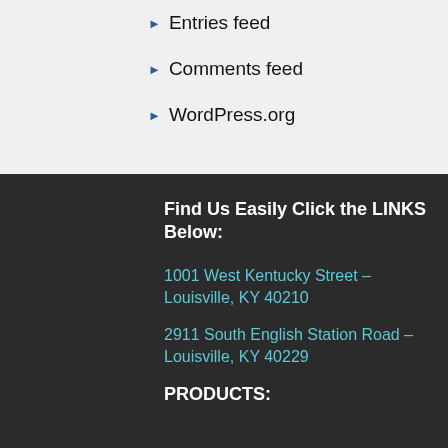Entries feed
Comments feed
WordPress.org
Find Us Easily Click the LINKS Below:
1001 West Kentucky Street – Louisville, KY 40210
2911 South English Station Road – Louisville, KY 40229
PRODUCTS: